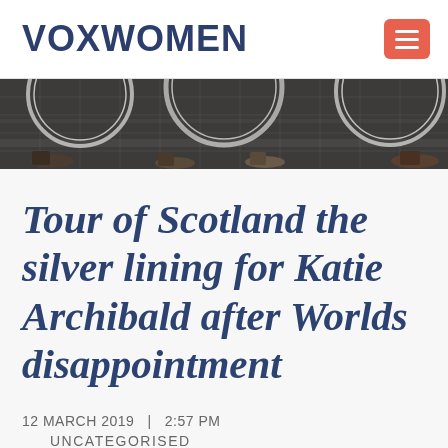VOXWOMEN
[Figure (photo): Close-up photo of bicycle wheels and riders' feet/shoes on a wet cobblestone surface, viewed from ground level.]
Tour of Scotland the silver lining for Katie Archibald after Worlds disappointment
12 MARCH 2019  |  2:57 PM
UNCATEGORISED